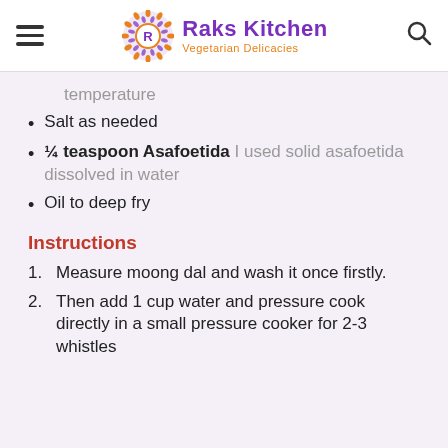Raks Kitchen | Vegetarian Delicacies
temperature
Salt as needed
¼ teaspoon Asafoetida I used solid asafoetida dissolved in water
Oil to deep fry
Instructions
Measure moong dal and wash it once firstly.
Then add 1 cup water and pressure cook directly in a small pressure cooker for 2-3 whistles